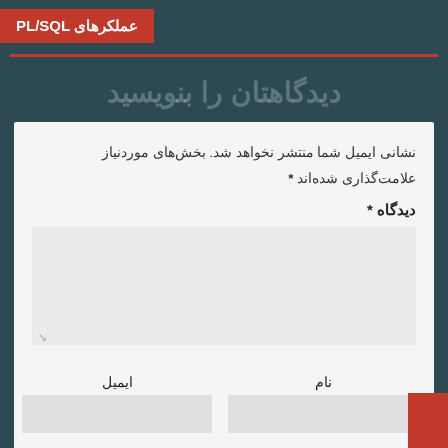عملکرهای PL/SQL
دیدگاهتان را بنویسید
نشانی ایمیل شما منتشر نخواهد شد. بخش‌های موردنیاز علامت‌گذاری شده‌اند *
دیدگاه *
نام
ایمیل